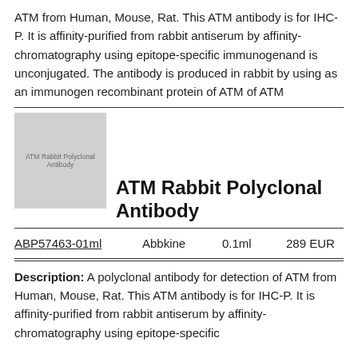ATM from Human, Mouse, Rat. This ATM antibody is for IHC-P. It is affinity-purified from rabbit antiserum by affinity-chromatography using epitope-specific immunogenand is unconjugated. The antibody is produced in rabbit by using as an immunogen recombinant protein of ATM of ATM
[Figure (illustration): Product image placeholder: gray rectangle with text 'ATM Rabbit Polyclonal Antibody']
ATM Rabbit Polyclonal Antibody
| Product ID | Supplier | Volume | Price |
| --- | --- | --- | --- |
| ABP57463-01ml | Abbkine | 0.1ml | 289 EUR |
Description: A polyclonal antibody for detection of ATM from Human, Mouse, Rat. This ATM antibody is for IHC-P. It is affinity-purified from rabbit antiserum by affinity-chromatography using epitope-specific